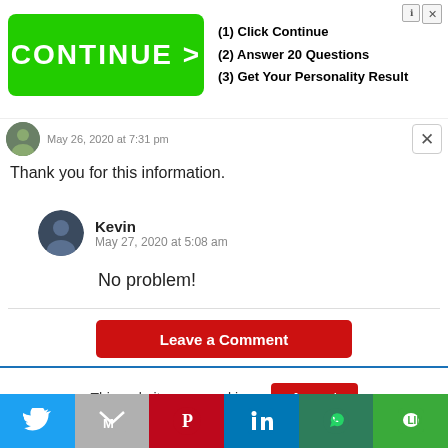[Figure (screenshot): Advertisement banner with a green CONTINUE > button and steps: (1) Click Continue, (2) Answer 20 Questions, (3) Get Your Personality Result]
May 26, 2020 at 7:31 pm
Thank you for this information.
Kevin
May 27, 2020 at 5:08 am
No problem!
Leave a Comment
This website uses cookies.
[Figure (screenshot): Social sharing bar with Twitter, Gmail, Pinterest, LinkedIn, WhatsApp, and LINE buttons]